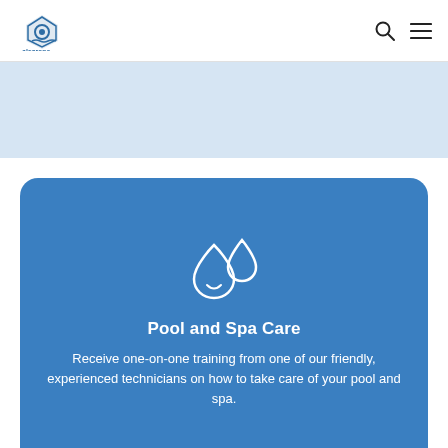Clearene pool and spa services — navigation header with search and menu icons
[Figure (illustration): Light blue banner/hero area]
Pool and Spa Care
Receive one-on-one training from one of our friendly, experienced technicians on how to take care of your pool and spa.
[Figure (illustration): Second blue card partially visible at bottom with person/technician icon]